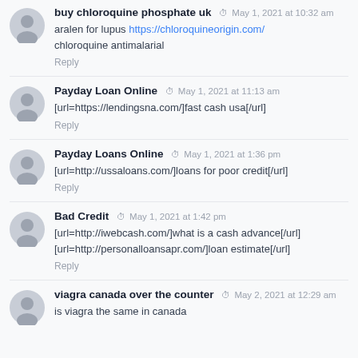buy chloroquine phosphate uk — May 1, 2021 at 10:32 am
aralen for lupus https://chloroquineorigin.com/
chloroquine antimalarial
Reply
Payday Loan Online — May 1, 2021 at 11:13 am
[url=https://lendingsna.com/]fast cash usa[/url]
Reply
Payday Loans Online — May 1, 2021 at 1:36 pm
[url=http://ussaloans.com/]loans for poor credit[/url]
Reply
Bad Credit — May 1, 2021 at 1:42 pm
[url=http://iwebcash.com/]what is a cash advance[/url]
[url=http://personalloansapr.com/]loan estimate[/url]
Reply
viagra canada over the counter — May 2, 2021 at 12:29 am
is viagra the same in canada